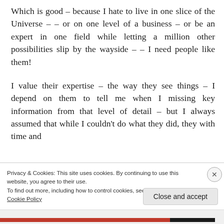Which is good – because I hate to live in one slice of the Universe – – or on one level of a business – or be an expert in one field while letting a million other possibilities slip by the wayside – – I need people like them!
I value their expertise – the way they see things – I depend on them to tell me when I missing key information from that level of detail – but I always assumed that while I couldn't do what they did, they with time and
Privacy & Cookies: This site uses cookies. By continuing to use this website, you agree to their use.
To find out more, including how to control cookies, see here:
Cookie Policy
Close and accept